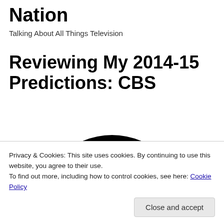Nation
Talking About All Things Television
Reviewing My 2014-15 Predictions: CBS
[Figure (logo): CBS eye logo — large black semicircle with white eye cutout, partially visible, centered on page]
Privacy & Cookies: This site uses cookies. By continuing to use this website, you agree to their use.
To find out more, including how to control cookies, see here: Cookie Policy
Close and accept